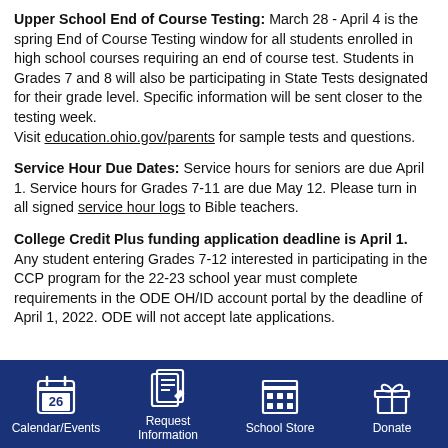Upper School End of Course Testing: March 28 - April 4 is the spring End of Course Testing window for all students enrolled in high school courses requiring an end of course test. Students in Grades 7 and 8 will also be participating in State Tests designated for their grade level. Specific information will be sent closer to the testing week. Visit education.ohio.gov/parents for sample tests and questions.
Service Hour Due Dates: Service hours for seniors are due April 1. Service hours for Grades 7-11 are due May 12. Please turn in all signed service hour logs to Bible teachers.
College Credit Plus funding application deadline is April 1. Any student entering Grades 7-12 interested in participating in the CCP program for the 22-23 school year must complete requirements in the ODE OH/ID account portal by the deadline of April 1, 2022. ODE will not accept late applications.
Calendar/Events | Request Information | School Store | Donate